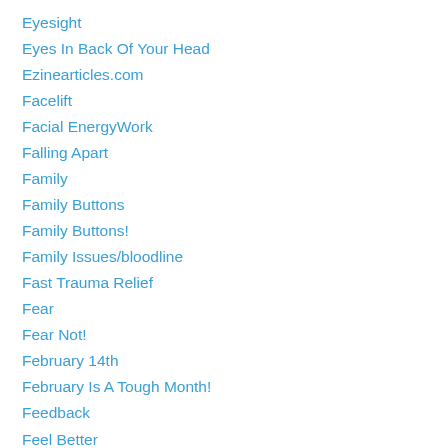Eyesight
Eyes In Back Of Your Head
Ezinearticles.com
Facelift
Facial EnergyWork
Falling Apart
Family
Family Buttons
Family Buttons!
Family Issues/bloodline
Fast Trauma Relief
Fear
Fear Not!
February 14th
February Is A Tough Month!
Feedback
Feel Better
Feel Better In Your Skin
Feline Magic
Fenging Your Shui